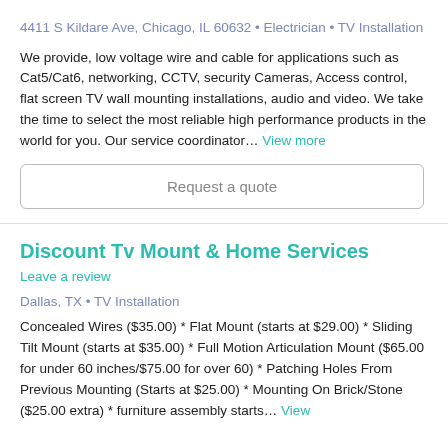4411 S Kildare Ave, Chicago, IL 60632 • Electrician • TV Installation
We provide, low voltage wire and cable for applications such as Cat5/Cat6, networking, CCTV, security Cameras, Access control, flat screen TV wall mounting installations, audio and video. We take the time to select the most reliable high performance products in the world for you. Our service coordinator… View more
Request a quote
Discount Tv Mount & Home Services
Leave a review
Dallas, TX • TV Installation
Concealed Wires ($35.00) * Flat Mount (starts at $29.00) * Sliding Tilt Mount (starts at $35.00) * Full Motion Articulation Mount ($65.00 for under 60 inches/$75.00 for over 60) * Patching Holes From Previous Mounting (Starts at $25.00) * Mounting On Brick/Stone ($25.00 extra) * furniture assembly starts… View